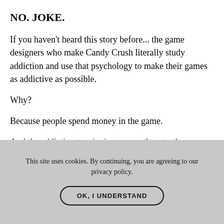NO. JOKE.
If you haven't heard this story before... the game designers who make Candy Crush literally study addiction and use that psychology to make their games as addictive as possible.
Why?
Because people spend money in the game.
And the addiction to winning causes them to thro...
This site uses cookies. By continuing, you are agreeing to our privacy policy.
OK, I UNDERSTAND